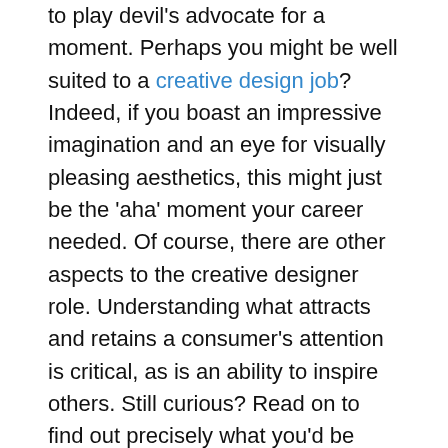to play devil's advocate for a moment. Perhaps you might be well suited to a creative design job? Indeed, if you boast an impressive imagination and an eye for visually pleasing aesthetics, this might just be the 'aha' moment your career needed. Of course, there are other aspects to the creative designer role. Understanding what attracts and retains a consumer's attention is critical, as is an ability to inspire others. Still curious? Read on to find out precisely what you'd be letting yourself in for, and what's required of you, in a creative designer role.
First, What Is A Creative Designer & What Do They Do On A Day To Day Basis?
In a nutshell, creative designers use their design skills to promote a company, its products or services. Industries that employ them range from publishing and broadcasting to marketing and advertising. Day to day, creative designers implement ideas or build on ones generated by clients, creative directors or marketing managers. In a commercial setting, 'creative ideas' might extend to product labels,